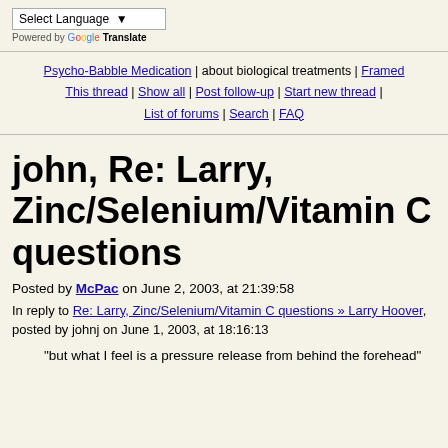Select Language | Powered by Google Translate
Psycho-Babble Medication | about biological treatments | Framed
This thread | Show all | Post follow-up | Start new thread |
List of forums | Search | FAQ
john, Re: Larry, Zinc/Selenium/Vitamin C questions
Posted by McPac on June 2, 2003, at 21:39:58
In reply to Re: Larry, Zinc/Selenium/Vitamin C questions » Larry Hoover, posted by johnj on June 1, 2003, at 18:16:13
"but what I feel is a pressure release from behind the forehead"